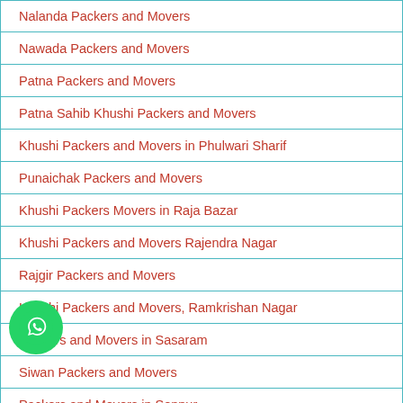Nalanda Packers and Movers
Nawada Packers and Movers
Patna Packers and Movers
Patna Sahib Khushi Packers and Movers
Khushi Packers and Movers in Phulwari Sharif
Punaichak Packers and Movers
Khushi Packers Movers in Raja Bazar
Khushi Packers and Movers Rajendra Nagar
Rajgir Packers and Movers
Khushi Packers and Movers, Ramkrishan Nagar
Packers and Movers in Sasaram
Siwan Packers and Movers
Packers and Movers in Sonpur
Purnia